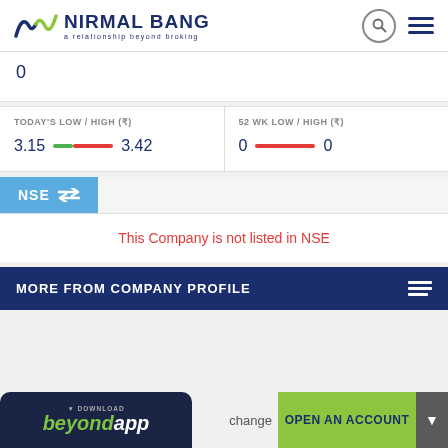[Figure (logo): Nirmal Bang logo with tagline 'a relationship beyond broking']
0
TODAY'S LOW / HIGH (₹)
3.15  3.42
52 WK LOW / HIGH (₹)
0  0
NSE ⇌
This Company is not listed in NSE
MORE FROM COMPANY PROFILE
[Figure (screenshot): Beyond App download button]
change
OPEN AN ACCOUNT